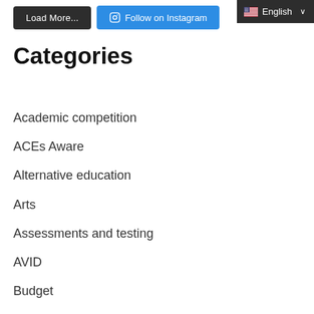[Figure (screenshot): Load More button (dark/black) and Follow on Instagram button (blue) side by side, with an English language selector dropdown in the top right corner]
Categories
Academic competition
ACEs Aware
Alternative education
Arts
Assessments and testing
AVID
Budget
Career technical education
COVID-19
Deeper Learning Podcast